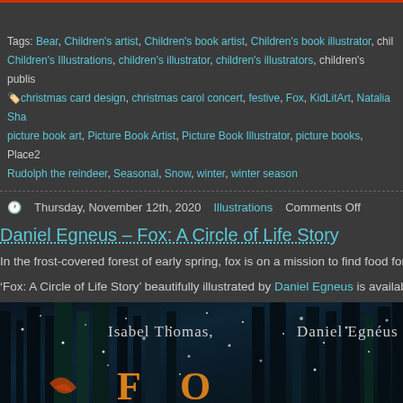Tags: Bear, Children's artist, Children's book artist, Children's book illustrator, children's Illustrations, children's illustrator, children's illustrators, children's publishing, christmas card design, christmas carol concert, festive, Fox, KidLitArt, Natalia Sha..., picture book art, Picture Book Artist, Picture Book Illustrator, picture books, Place2..., Rudolph the reindeer, Seasonal, Snow, winter, winter season
Thursday, November 12th, 2020   Illustrations   Comments Off
Daniel Egneus – Fox: A Circle of Life Story
In the frost-covered forest of early spring, fox is on a mission to find food for her three...
'Fox: A Circle of Life Story' beautifully illustrated by Daniel Egneus is available 1st Oc...
[Figure (illustration): Book cover for 'Fox: A Circle of Life Story' by Isabel Thomas and Daniel Egnéus, showing a dark forest scene with sparkles and warm golden title text at bottom]